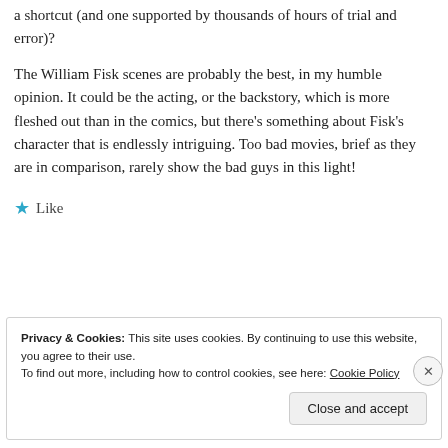a shortcut (and one supported by thousands of hours of trial and error)?
The William Fisk scenes are probably the best, in my humble opinion. It could be the acting, or the backstory, which is more fleshed out than in the comics, but there's something about Fisk's character that is endlessly intriguing. Too bad movies, brief as they are in comparison, rarely show the bad guys in this light!
★ Like
Privacy & Cookies: This site uses cookies. By continuing to use this website, you agree to their use.
To find out more, including how to control cookies, see here: Cookie Policy
Close and accept